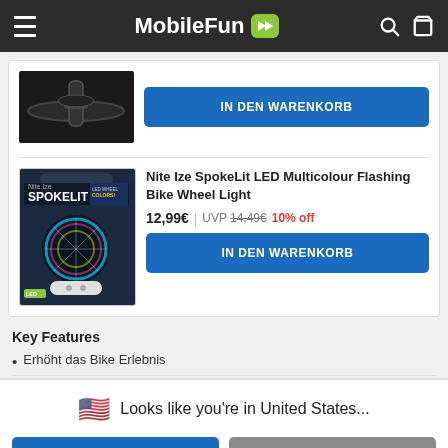MobileFun
[Figure (screenshot): Partial product image showing bicycle handlebar/light product, cropped at top]
IN DEN WARENKORB
[Figure (photo): Nite Ize SpokeLit LED Multicolour Flashing Bike Wheel Light product packaging photo]
Nite Ize SpokeLit LED Multicolour Flashing Bike Wheel Light
12,99€ | UVP 14,49€ 10% off
IN DEN WARENKORB
Key Features
Erhöht das Bike Erlebnis
🇺🇸  Looks like you're in United States...
SHOP THERE
DISMISS